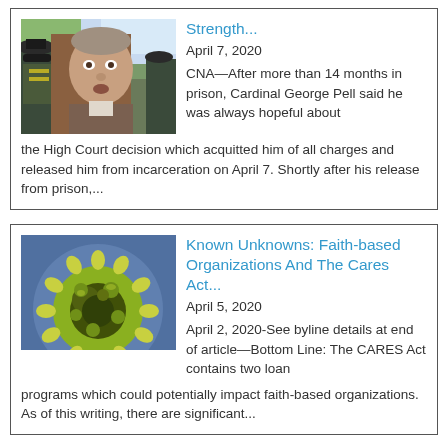[Figure (photo): Cardinal George Pell with police officers, outdoor setting]
Strength...
April 7, 2020
CNA—After more than 14 months in prison, Cardinal George Pell said he was always hopeful about the High Court decision which acquitted him of all charges and released him from incarceration on April 7. Shortly after his release from prison,...
[Figure (photo): Coronavirus particle microscopy image, green and yellow coloring on blue background]
Known Unknowns: Faith-based Organizations And The Cares Act...
April 5, 2020
April 2, 2020-See byline details at end of article—Bottom Line: The CARES Act contains two loan programs which could potentially impact faith-based organizations. As of this writing, there are significant...